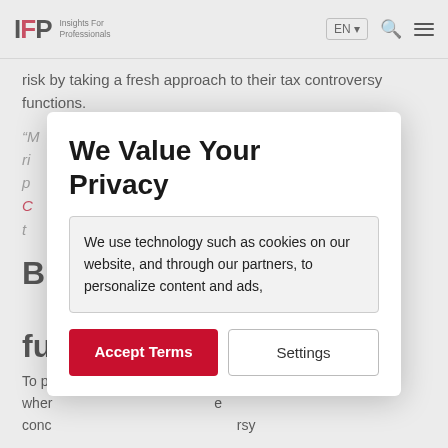IFP Insights For Professionals | EN | Search | Menu
risk by taking a fresh approach to their tax controversy functions.
"[quote text about tax risk ... in p...] C[...] and t[...]"
Bu[ilding] [controversy] [fu]nctions
To p[rovide...] e risk wher[e...] e conc[erns...] rsy
We Value Your Privacy
We use technology such as cookies on our website, and through our partners, to personalize content and ads,
Accept Terms | Settings